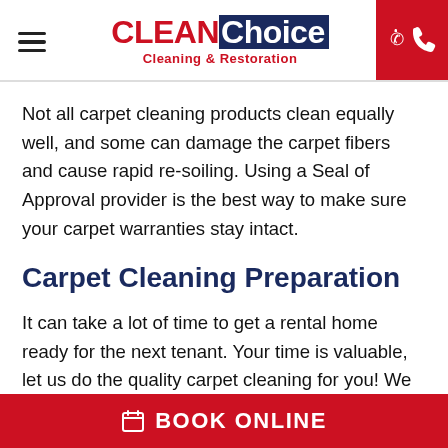CLEAN Choice Cleaning & Restoration
Not all carpet cleaning products clean equally well, and some can damage the carpet fibers and cause rapid re-soiling. Using a Seal of Approval provider is the best way to make sure your carpet warranties stay intact.
Carpet Cleaning Preparation
It can take a lot of time to get a rental home ready for the next tenant. Your time is valuable, let us do the quality carpet cleaning for you! We offer a 100%
BOOK ONLINE